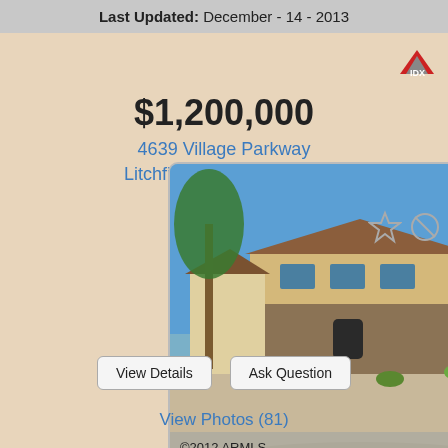Last Updated: December - 14 - 2013
[Figure (logo): IDX logo - triangle/mountain shaped logo with 'IDX' text in red/dark]
$1,200,000
4639 Village Parkway
Litchfield Park, AZ 85340
[Figure (photo): Exterior photo of a large two-story Mediterranean/Spanish style home with palm trees, stone facade, and desert landscaping. Copyright mark: ©2012 ARMLS]
©2012 ARMLS
View Details   Ask Question
View Photos (81)